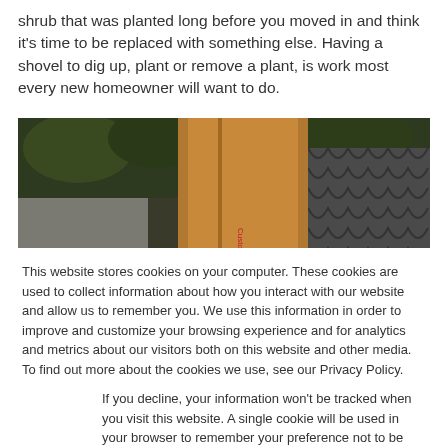shrub that was planted long before you moved in and think it's time to be replaced with something else. Having a shovel to dig up, plant or remove a plant, is work most every new homeowner will want to do.
[Figure (photo): Close-up of a person wearing brown work pants and boots near a shovel and landscaping materials outdoors]
This website stores cookies on your computer. These cookies are used to collect information about how you interact with our website and allow us to remember you. We use this information in order to improve and customize your browsing experience and for analytics and metrics about our visitors both on this website and other media. To find out more about the cookies we use, see our Privacy Policy.
If you decline, your information won't be tracked when you visit this website. A single cookie will be used in your browser to remember your preference not to be tracked.